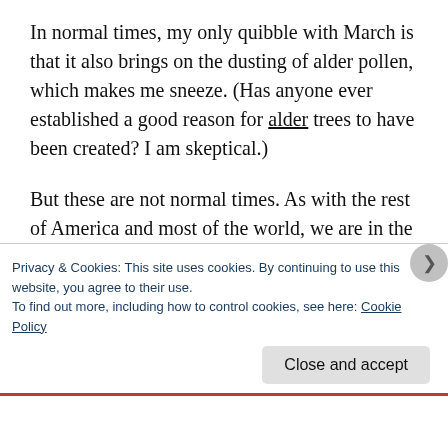In normal times, my only quibble with March is that it also brings on the dusting of alder pollen, which makes me sneeze. (Has anyone ever established a good reason for alder trees to have been created? I am skeptical.)
But these are not normal times. As with the rest of America and most of the world, we are in the grip of the global coronavirus pandemic. As a result, most of us have been largely confined to our homes, venturing out on only the most urgent matters. We
Privacy & Cookies: This site uses cookies. By continuing to use this website, you agree to their use.
To find out more, including how to control cookies, see here: Cookie Policy
Close and accept